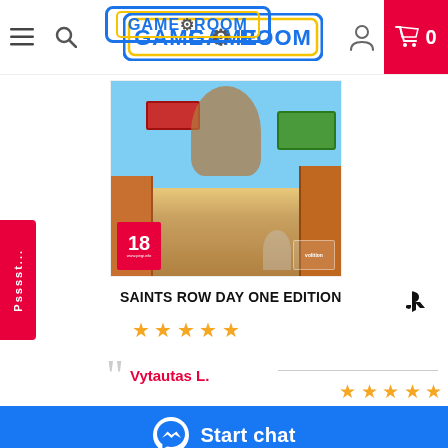[Figure (screenshot): Game Room website header with hamburger menu, search icon, Game Room logo (yellow/blue), user icon, and red cart button showing 0]
[Figure (photo): Saints Row Day One Edition game cover art showing colorful city scene with giant mascot figure, age rating 18 badge, Volition logo]
SAINTS ROW DAY ONE EDITION
[Figure (logo): PlayStation logo]
[Figure (infographic): 5 gold star rating]
Vytautas L.
[Figure (infographic): 5 gold star review rating]
[Figure (screenshot): Blue Start chat bar with Messenger icon]
Saints Row is back
We use cookies to ensure that we give you the best experience on our website. More information on our privacy policy page.
Niekė nepriklauso nė vienai atragalui pusės, praėjtos dalys pasiżymejo taisyklė – kuo toliau, tuo beprotiškiau. Tiesa, Saints Row IV ir Gat out
OK